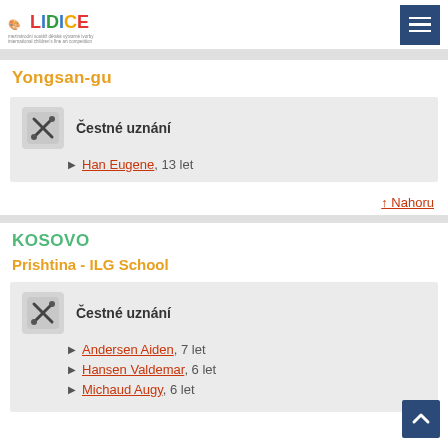LIDICE
Yongsan-gu
Čestné uznání — Han Eugene, 13 let
↑ Nahoru
KOSOVO
Prishtina - ILG School
Čestné uznání — Andersen Aiden, 7 let; Hansen Valdemar, 6 let; Michaud Augy, 6 let